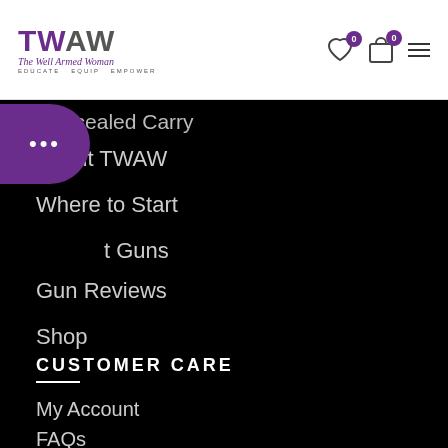TWAW - The Well Armed Woman - Educate Equip Empower
Concealed Carry
About TWAW
Where to Start
About Guns
Gun Reviews
Shop
CUSTOMER CARE
My Account
FAQs
Shipping & Returns
Terms & Conditions
Privacy Policy